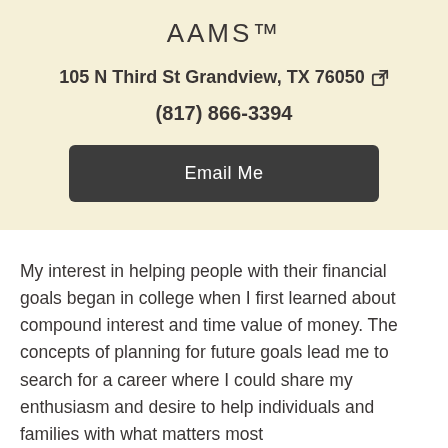AAMS™
105 N Third St Grandview, TX 76050
(817) 866-3394
Email Me
My interest in helping people with their financial goals began in college when I first learned about compound interest and time value of money. The concepts of planning for future goals lead me to search for a career where I could share my enthusiasm and desire to help individuals and families with what matters most